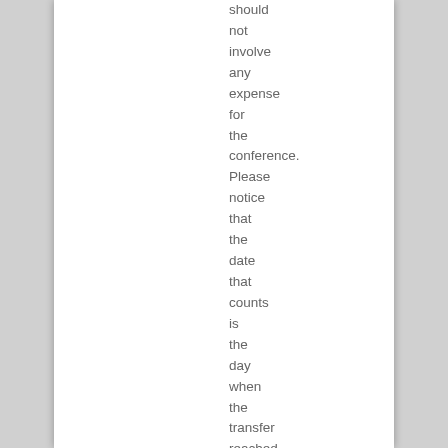should not involve any expense for the conference. Please notice that the date that counts is the day when the transfer reached the conference's account. On-